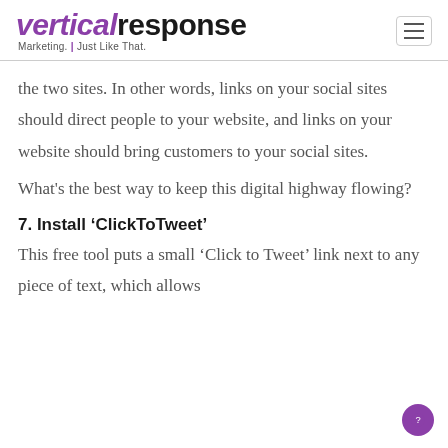VerticalResponse Marketing. Just Like That.
the two sites. In other words, links on your social sites should direct people to your website, and links on your website should bring customers to your social sites.
What's the best way to keep this digital highway flowing?
7. Install ‘ClickToTweet’
This free tool puts a small ‘Click to Tweet’ link next to any piece of text, which allows